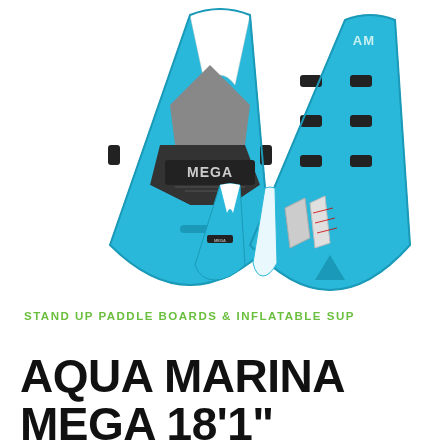[Figure (photo): Product photo of Aqua Marina MEGA inflatable stand-up paddle board shown from two angles (front/top view and back/underside view) in cyan/teal color with dark gray accent, plus two smaller side-view images and accessories]
STAND UP PADDLE BOARDS & INFLATABLE SUP
AQUA MARINA MEGA 18'1" STAND UP